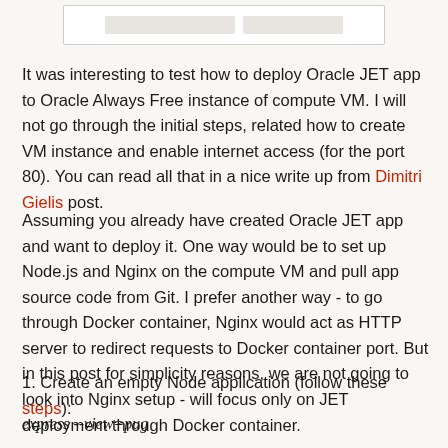[Figure (screenshot): Partial screenshot of a UI element showing two blurred/greyed rectangular fields side by side on a white background with border]
It was interesting to test how to deploy Oracle JET app to Oracle Always Free instance of compute VM. I will not go through the initial steps, related how to create VM instance and enable internet access (for the port 80). You can read all that in a nice write up from Dimitri Gielis post.
Assuming you already have created Oracle JET app and want to deploy it. One way would be to set up Node.js and Nginx on the compute VM and pull app source code from Git. I prefer another way - to go through Docker container, Nginx would act as HTTP server to redirect requests to Docker container port. But in this post for simplicity reasons, we are not going to look into Nginx setup - will focus only on JET deployment through Docker container.
1. Create an empty Node application (follow these steps):